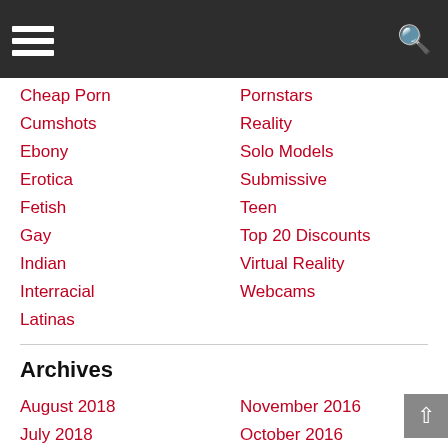Navigation header with hamburger menu and search icon
Cheap Porn
Pornstars
Cumshots
Reality
Ebony
Solo Models
Erotica
Submissive
Fetish
Teen
Gay
Top 20 Discounts
Indian
Virtual Reality
Interracial
Webcams
Latinas
Archives
August 2018
November 2016
July 2018
October 2016
May 2018
September 2016
April 2018
August 2016
September 2017
July 2016
August 2017
June 2016
July 2017
May 2016
June 2017
April 2016
May 2017
March 2016
April 2017
February 2016
March 2017
January 2016